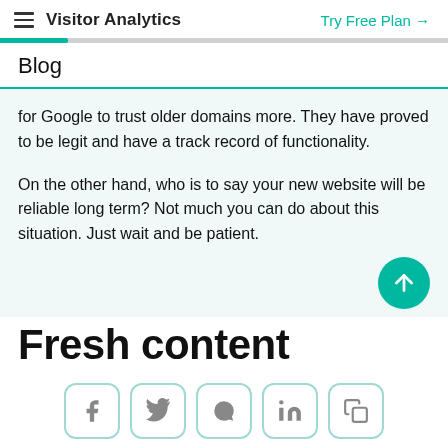Visitor Analytics | Try Free Plan →
Blog
for Google to trust older domains more. They have proved to be legit and have a track record of functionality.
On the other hand, who is to say your new website will be reliable long term? Not much you can do about this situation. Just wait and be patient.
Fresh content
[Figure (other): Social share icons row: Facebook, Twitter/X, WhatsApp, LinkedIn, Copy link]